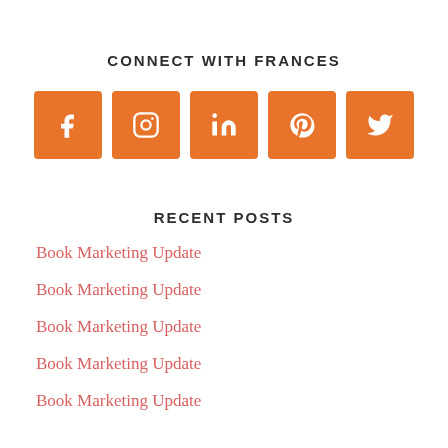CONNECT WITH FRANCES
[Figure (infographic): Five orange square social media icon buttons: Facebook, Instagram, LinkedIn, Pinterest, Twitter]
RECENT POSTS
Book Marketing Update
Book Marketing Update
Book Marketing Update
Book Marketing Update
Book Marketing Update